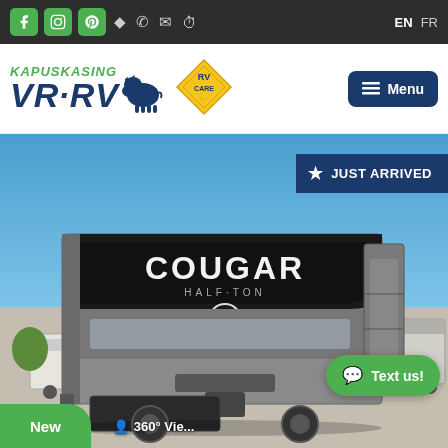Kapuskasing VR·RV — Top navigation bar with social icons (Facebook, Instagram, Pinterest), phone, email, clock icons, and EN / FR language links
[Figure (logo): Kapuskasing VR·RV logo with bison silhouette and RV Care badge, plus dark blue Menu button]
[Figure (photo): Cougar Half-Ton fifth wheel RV photographed from the front-side angle in a dealership lot under a blue sky, with 'JUST ARRIVED' badge in top-right corner, 'New' green badge and '360° View' button at bottom]